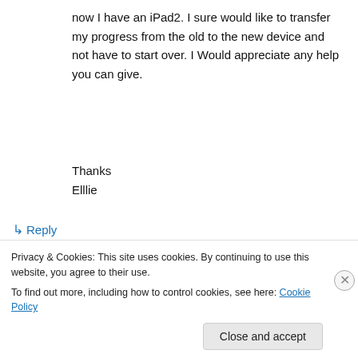now I have an iPad2. I sure would like to transfer my progress from the old to the new device and not have to start over. I Would appreciate any help you can give.
Thanks
Elllie
↳ Reply
stickywicketapps on March 14, 2012 at 1:37
Privacy & Cookies: This site uses cookies. By continuing to use this website, you agree to their use.
To find out more, including how to control cookies, see here: Cookie Policy